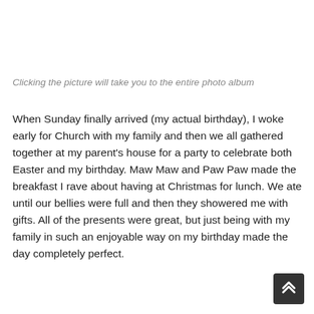Clicking the picture will take you to the entire photo album
When Sunday finally arrived (my actual birthday), I woke early for Church with my family and then we all gathered together at my parent’s house for a party to celebrate both Easter and my birthday. Maw Maw and Paw Paw made the breakfast I rave about having at Christmas for lunch. We ate until our bellies were full and then they showered me with gifts. All of the presents were great, but just being with my family in such an enjoyable way on my birthday made the day completely perfect.